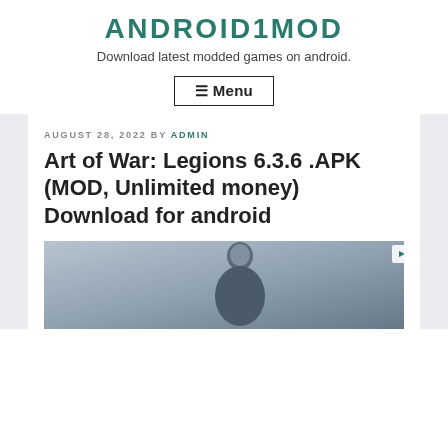ANDROID1MOD
Download latest modded games on android.
☰ Menu
AUGUST 28, 2022 BY ADMIN
Art of War: Legions 6.3.6 .APK (MOD, Unlimited money) Download for android
[Figure (photo): Advertisement image showing a person, with an ad badge (play icon and X) in the top right corner]